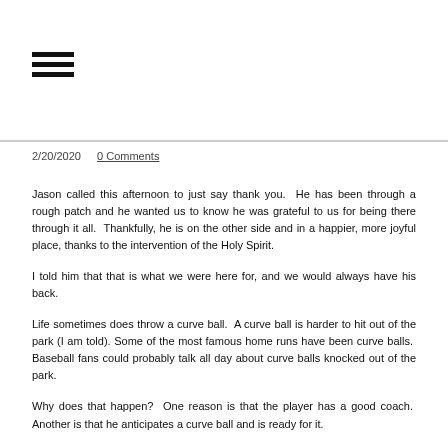☰
2/20/2020   0 Comments
Jason called this afternoon to just say thank you.  He has been through a rough patch and he wanted us to know he was grateful to us for being there through it all.  Thankfully, he is on the other side and in a happier, more joyful place, thanks to the intervention of the Holy Spirit.
I told him that that is what we were here for, and we would always have his back.
Life sometimes does throw a curve ball.  A curve ball is harder to hit out of the park (I am told). Some of the most famous home runs have been curve balls.  Baseball fans could probably talk all day about curve balls knocked out of the park.
Why does that happen?  One reason is that the player has a good coach.  Another is that he anticipates a curve ball and is ready for it.